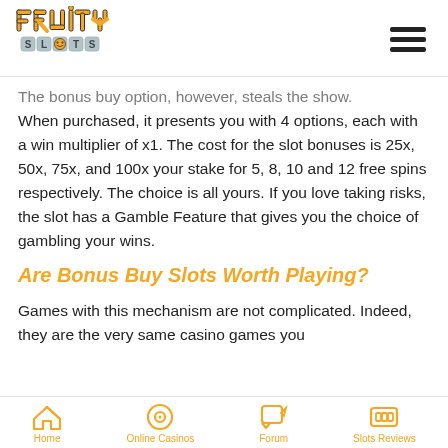Fruity Slots logo + hamburger menu
The bonus buy option, however, steals the show. When purchased, it presents you with 4 options, each with a win multiplier of x1. The cost for the slot bonuses is 25x, 50x, 75x, and 100x your stake for 5, 8, 10 and 12 free spins respectively. The choice is all yours. If you love taking risks, the slot has a Gamble Feature that gives you the choice of gambling your wins.
Are Bonus Buy Slots Worth Playing?
Games with this mechanism are not complicated. Indeed, they are the very same casino games you
Home | Online Casinos | Forum | Slots Reviews